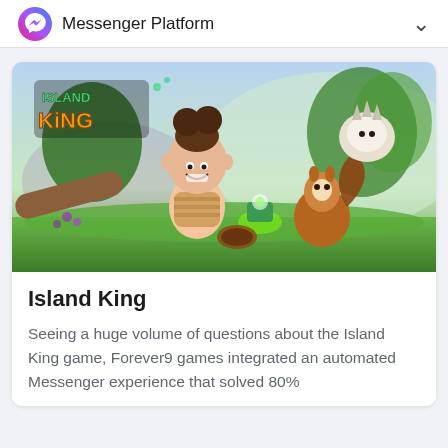Messenger Platform
[Figure (illustration): Island King mobile game promotional artwork showing an animated child character in a lush green forest with a squirrel and a creature, with the Island King logo in the top left corner.]
Island King
Seeing a huge volume of questions about the Island King game, Forever9 games integrated an automated Messenger experience that solved 80%